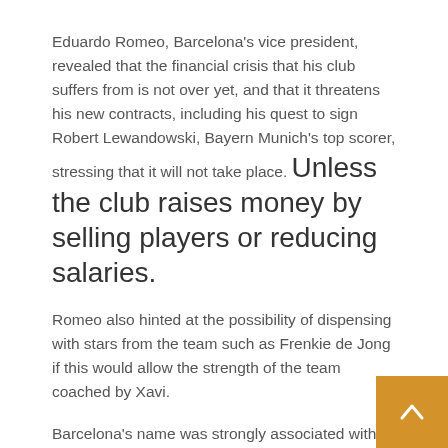Eduardo Romeo, Barcelona's vice president, revealed that the financial crisis that his club suffers from is not over yet, and that it threatens his new contracts, including his quest to sign Robert Lewandowski, Bayern Munich's top scorer, stressing that it will not take place. Unless the club raises money by selling players or reducing salaries.
Romeo also hinted at the possibility of dispensing with stars from the team such as Frenkie de Jong if this would allow the strength of the team coached by Xavi.
Barcelona's name was strongly associated with the contract with Lewandowski, amid a dispute over his contract with the German champions, and the player